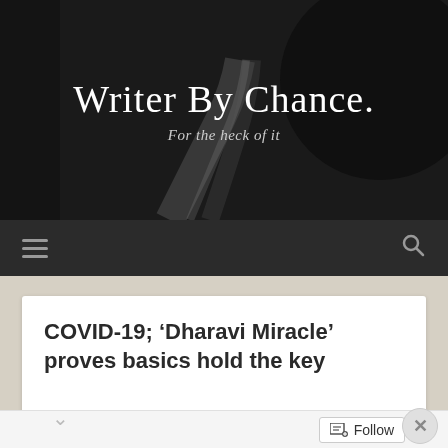[Figure (photo): Blog header with dark background showing a winding road through trees, with blog title 'Writer By Chance.' and subtitle 'For the heck of it']
Writer By Chance.
For the heck of it
COVID-19; ‘Dharavi Miracle’ proves basics hold the key
[Figure (photo): Partial image of urban slum area at bottom of article card]
Advertisements